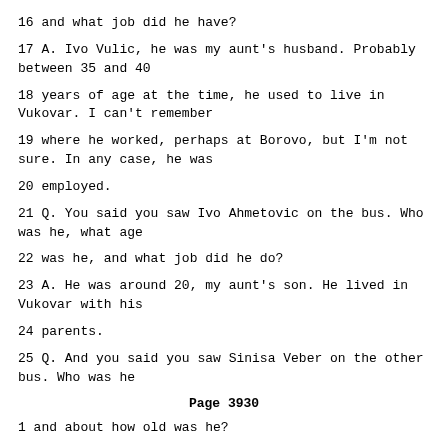16 and what job did he have?
17 A. Ivo Vulic, he was my aunt's husband. Probably between 35 and 40
18 years of age at the time, he used to live in Vukovar. I can't remember
19 where he worked, perhaps at Borovo, but I'm not sure. In any case, he was
20 employed.
21 Q. You said you saw Ivo Ahmetovic on the bus. Who was he, what age
22 was he, and what job did he do?
23 A. He was around 20, my aunt's son. He lived in Vukovar with his
24 parents.
25 Q. And you said you saw Sinisa Veber on the other bus. Who was he
Page 3930
1 and about how old was he?
2 A. He was also a young guy, around 20. I knew him by sight. I al